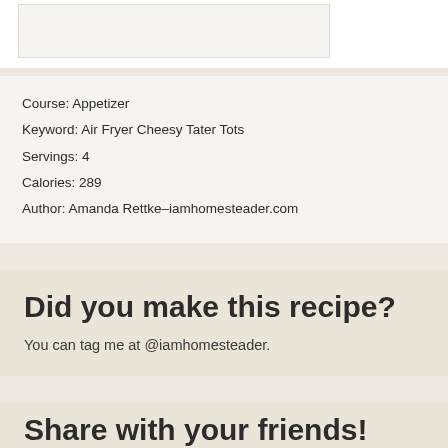Course: Appetizer
Keyword: Air Fryer Cheesy Tater Tots
Servings: 4
Calories: 289
Author: Amanda Rettke–iamhomesteader.com
Did you make this recipe?
You can tag me at @iamhomesteader.
Share with your friends!